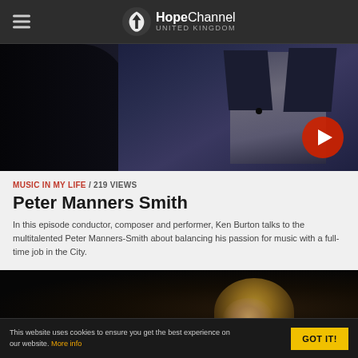HopeChannel UNITED KINGDOM
[Figure (photo): Video thumbnail showing a man in a dark suit with a microphone clip, seated, with a play button overlay in the bottom right corner.]
MUSIC IN MY LIFE / 219 VIEWS
Peter Manners Smith
In this episode conductor, composer and performer, Ken Burton talks to the multitalented Peter Manners-Smith about balancing his passion for music with a full-time job in the City.
[Figure (photo): Video thumbnail showing a blonde woman performing or singing, dark background.]
This website uses cookies to ensure you get the best experience on our website. More info